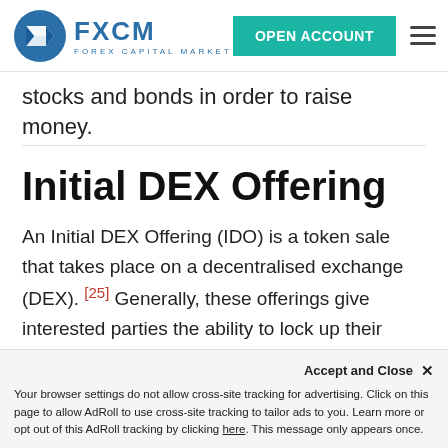FXCM - FOREX CAPITAL MARKETS | OPEN ACCOUNT
stocks and bonds in order to raise money.
Initial DEX Offering
An Initial DEX Offering (IDO) is a token sale that takes place on a decentralised exchange (DEX). [25] Generally, these offerings give interested parties the ability to lock up their funds until they receive tokens later on. Once these offerings have taken place, liquidity pool...
Your browser settings do not allow cross-site tracking for advertising. Click on this page to allow AdRoll to use cross-site tracking to tailor ads to you. Learn more or opt out of this AdRoll tracking by clicking here. This message only appears once.